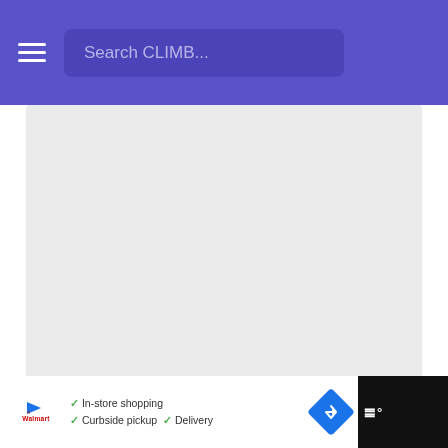Search CLIMB...
[Figure (other): Large white/light gray rectangular content area, likely an image or embedded media placeholder]
Example: “The biggest professional mistake I’ve made was not asking for help when I needed it. In